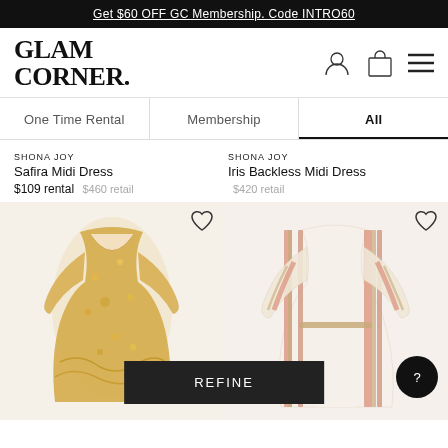Get $60 OFF GC Membership. Code INTRO60
[Figure (logo): GlamCorner logo - serif bold text reading GLAM CORNER. with period]
[Figure (illustration): Navigation icons: profile silhouette, shopping bag, hamburger menu]
One Time Rental | Membership | All
SHONA JOY
Safira Midi Dress
$109 rental  $460 retail
SHONA JOY
Iris Backless Midi Dress
$420 retail
[Figure (photo): Yellow floral long-sleeve midi dress with V-neckline and ruffled skirt on white background]
[Figure (photo): White and pink striped wrap dress with V-neckline and belt on white background]
REFINE